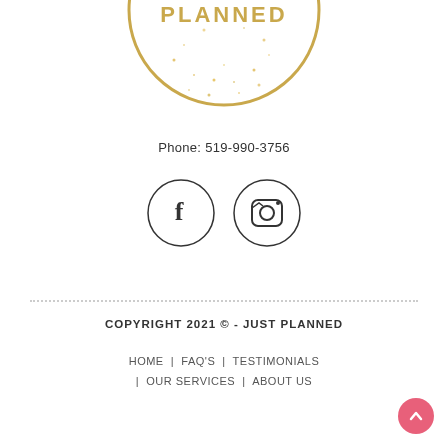[Figure (logo): Circular gold glitter logo with text PLANNED in gold letters, gold border ring]
Phone: 519-990-3756
[Figure (illustration): Two circular social media icon buttons: Facebook (f) and Instagram (camera icon), outlined circles on white background]
COPYRIGHT 2021 © - JUST PLANNED
HOME  |  FAQ'S  |  TESTIMONIALS
|  OUR SERVICES  |  ABOUT US